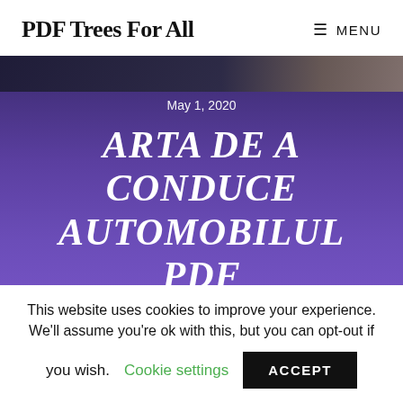PDF Trees For All
[Figure (screenshot): Hero banner with purple gradient background and dark photo strip at top. Shows date 'May 1, 2020' and title 'ARTA DE A CONDUCE AUTOMOBILUL PDF' in white italic bold serif font.]
This website uses cookies to improve your experience. We'll assume you're ok with this, but you can opt-out if you wish. Cookie settings ACCEPT